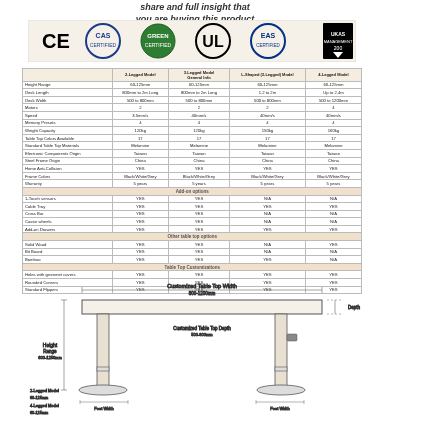share and full insight that you are buying this product
[Figure (logo): Certification logos: CE, CAS, green certification circle, UL, EAS, UKAS Management 200]
|  | 2-Legged Model | 3-Legged Model | L-Shaped (3-Legged) Model | 4-Legged Model |
| --- | --- | --- | --- | --- |
| General Info |  |  |  |  |
| Height Range | 60-125mm | 60-125mm | 60-125mm | 60-125mm |
| Desk Length | 800mm to 2m Long | 800mm to 2m Long | 1.2 to 2m | Up to 2.4m |
| Desk Width | 500 to 800mm | 500 to 800mm | 500 to 800mm | 500 to 1200mm |
| Motors | 2 | 2 | 2 | 4 |
| Speed | 3.5mm/s | 40mm/s | 40mm/s | 40mm/s |
| Memory Presets | 4 | 4 | 4 | 4 |
| Weight Capacity | 120kg | 120kg | 150kg | 160kg |
| Table Top Colors Available | 17 | 17 | 17 | 17 |
| Standard Table Top Materials | Melamine | Melamine | Melamine | Melamine |
| Electronic Components Origin | Taiwan | Taiwan | Taiwan | Taiwan |
| Steel Frame Origin | China | China | China | China |
| Home Anti-Collision | YES | YES | YES | YES |
| Frame Colors | Black/White/Grey | Black/White/Grey | Black/White/Grey | Black/White/Grey |
| Warranty | 5 years | 5 years | 5 years | 5 years |
| Add-on options |  |  |  |  |
| 1-Touch sensors | YES | YES | N/A | N/A |
| Cable Tray | YES | YES | YES | YES |
| Cross Bar | YES | YES | N/A | N/A |
| Castor wheels | YES | YES | N/A | N/A |
| Add-on Drawers | YES | YES | YES | YES |
| Other table top options |  |  |  |  |
| Solid Wood | YES | YES | N/A | YES |
| Bit Board | YES | YES | N/A | N/A |
| Bamboo | YES | YES | YES | N/A |
| Table Top Customizations |  |  |  |  |
| Holes with grommet covers | YES | YES | YES | YES |
| Rounded Corners | YES | YES | YES | YES |
| Standard Flippers | YES | YES | YES | YES |
[Figure (engineering-diagram): Technical line drawing of a height-adjustable standing desk showing dimensions for desk top width, depth, height range, and leg positions with labeled measurements]